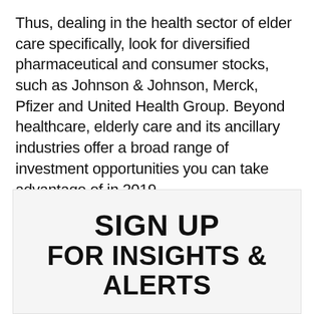Thus, dealing in the health sector of elder care specifically, look for diversified pharmaceutical and consumer stocks, such as Johnson & Johnson, Merck, Pfizer and United Health Group. Beyond healthcare, elderly care and its ancillary industries offer a broad range of investment opportunities you can take advantage of in 2019.
SIGN UP FOR INSIGHTS & ALERTS
[Figure (other): Red horizontal rule divider beneath the SIGN UP FOR INSIGHTS & ALERTS heading]
SIGN UP